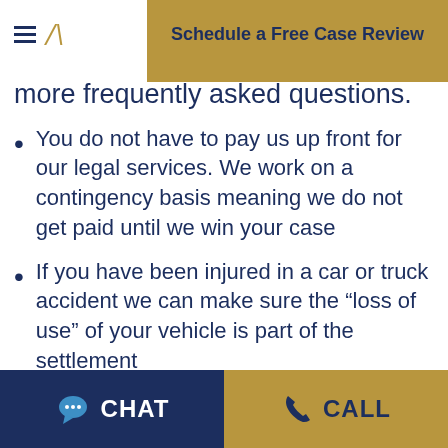Schedule a Free Case Review
more frequently asked questions.
You do not have to pay us up front for our legal services. We work on a contingency basis meaning we do not get paid until we win your case
If you have been injured in a car or truck accident we can make sure the “loss of use” of your vehicle is part of the settlement
If you do not have health or medical insurance, your medical expenses will
CHAT   CALL